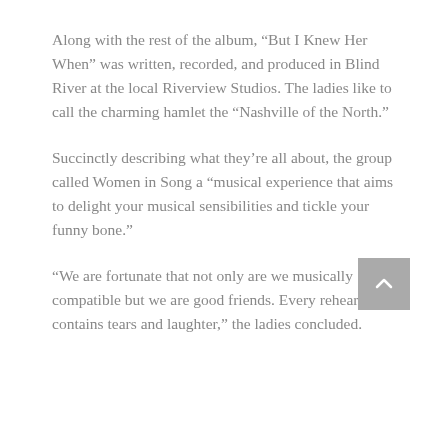Along with the rest of the album, “But I Knew Her When” was written, recorded, and produced in Blind River at the local Riverview Studios. The ladies like to call the charming hamlet the “Nashville of the North.”
Succinctly describing what they’re all about, the group called Women in Song a “musical experience that aims to delight your musical sensibilities and tickle your funny bone.”
“We are fortunate that not only are we musically compatible but we are good friends. Every rehearsal contains tears and laughter,” the ladies concluded.